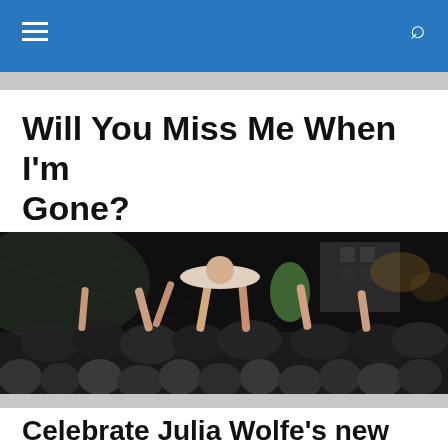Navigation bar with hamburger menu and search icon
Will You Miss Me When I'm Gone?
Pain! Ego! Art! Since 2009
[Figure (photo): Concert crowd photo showing people with raised arms, crowdsurfing, and a lively audience at night]
Celebrate Julia Wolfe’s new album with four free concerts tomorrow